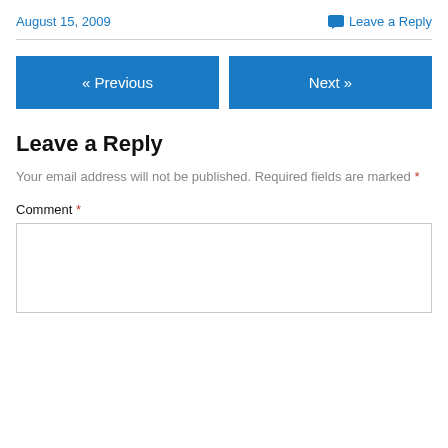August 15, 2009
Leave a Reply
« Previous
Next »
Leave a Reply
Your email address will not be published. Required fields are marked *
Comment *